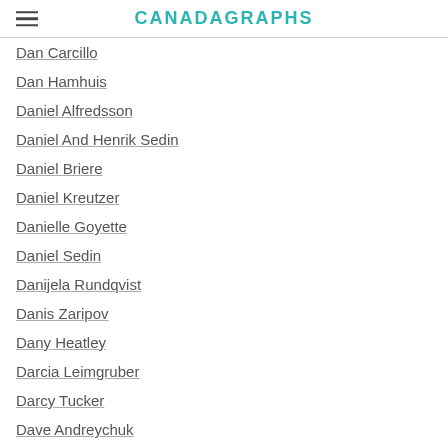CANADAGRAPHS
Dan Carcillo
Dan Hamhuis
Daniel Alfredsson
Daniel And Henrik Sedin
Daniel Briere
Daniel Kreutzer
Danielle Goyette
Daniel Sedin
Danijela Rundqvist
Danis Zaripov
Dany Heatley
Darcia Leimgruber
Darcy Tucker
Dave Andreychuk